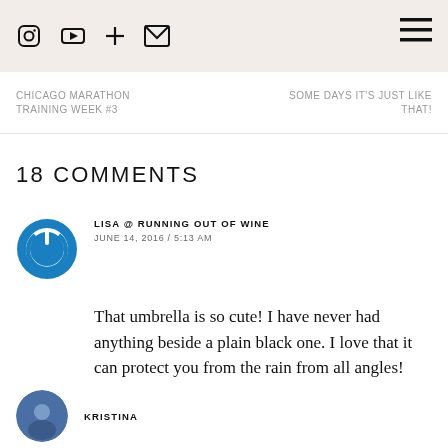Icons: Instagram, YouTube, Plus, Email, Hamburger menu
CHICAGO MARATHON TRAINING WEEK #3
SOME DAYS IT'S JUST LIKE THAT!
18 COMMENTS
LISA @ RUNNING OUT OF WINE
JUNE 14, 2016 / 5:13 AM
That umbrella is so cute! I have never had anything beside a plain black one. I love that it can protect you from the rain from all angles!
KRISTINA